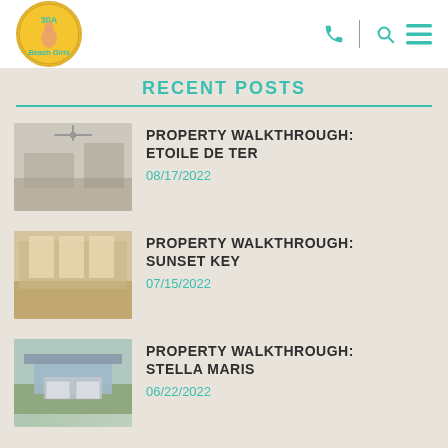[Figure (logo): 30A Beach Girls logo — circular badge with pin-up figure]
RECENT POSTS
[Figure (photo): Interior living room with ceiling fan and open floor plan]
PROPERTY WALKTHROUGH: ETOILE DE TER
08/17/2022
[Figure (photo): Interior kitchen and living area with large windows]
PROPERTY WALKTHROUGH: SUNSET KEY
07/15/2022
[Figure (photo): Exterior of light blue two-story house with garage]
PROPERTY WALKTHROUGH: STELLA MARIS
06/22/2022